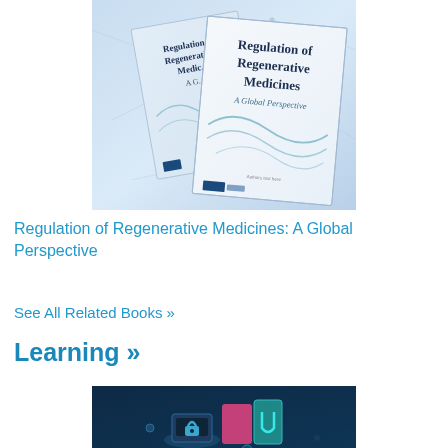[Figure (photo): Two book covers titled 'Regulation of Regenerative Medicines: A Global Perspective' displayed against a light blue network/tech background, one behind the other at slight angles.]
Regulation of Regenerative Medicines: A Global Perspective
See All Related Books »
Learning »
[Figure (illustration): Dark teal/navy background with isometric illustration of a digital/e-learning interface with lock icon and colorful elements.]